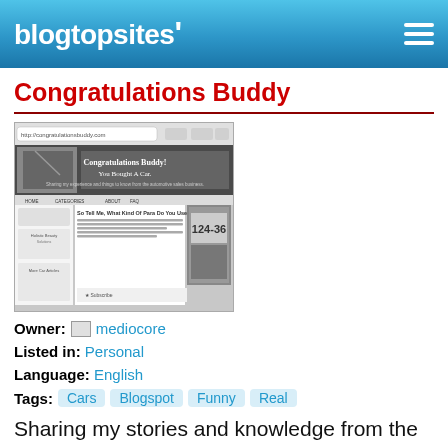blogtopsites'
Congratulations Buddy
[Figure (screenshot): Screenshot of the 'Congratulations Buddy! You Bought A Car.' blog website showing a blog post with a black and white photo of a street sign numbered 124-36]
Owner: mediocore
Listed in: Personal
Language: English
Tags: Cars  Blogspot  Funny  Real
Sharing my stories and knowledge from the automotive sales business